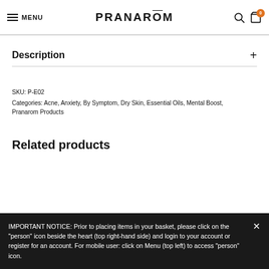MENU  PRANAROM  [search] [cart 0]
Description
SKU: P-E02
Categories: Acne, Anxiety, By Symptom, Dry Skin, Essential Oils, Mental Boost, Pranarom Products
Related products
IMPORTANT NOTICE: Prior to placing items in your basket, please click on the "person" icon beside the heart (top right-hand side) and login to your account or register for an account. For mobile user: click on Menu (top left) to access "person" icon.